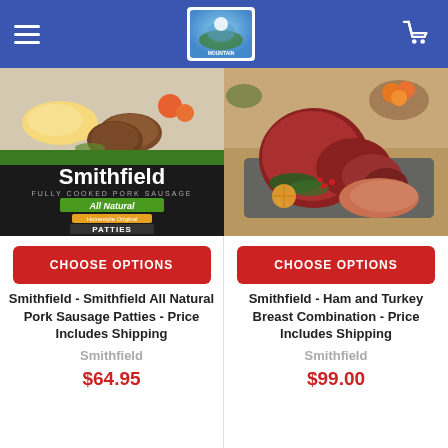Navigation header with hamburger menu, logo, and cart icon
[Figure (photo): Smithfield All Natural Pork Sausage Patties product packaging — bag showing cooked patties with eggs and fruit, black label with 'Smithfield', 'All Natural', 'Homestyle Original', 'PATTIES']
CHOOSE OPTIONS
Smithfield - Smithfield All Natural Pork Sausage Patties - Price Includes Shipping
Smithfield
$64.95
[Figure (photo): Sliced ham and turkey breast combination on a wooden board with greens, oranges in background]
CHOOSE OPTIONS
Smithfield - Ham and Turkey Breast Combination - Price Includes Shipping
Smithfield
$99.00